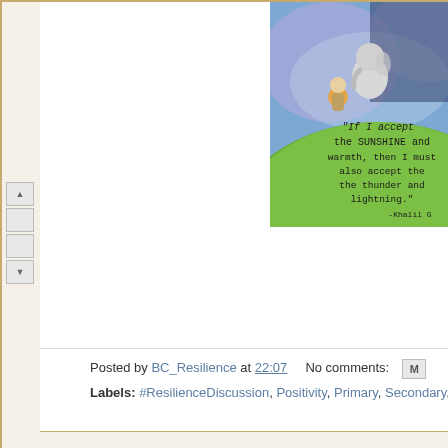[Figure (illustration): Illustrated image showing two characters (a small figure with orange glow and a larger elephant-like figure) standing on a green hill against a blue/purple sky background. Text written on the green hill reads: "If I accept the SUNSHINE and warmth, then I must also accept the the thunder and lightning." -Khalil G]
Posted by BC_Resilience at 22:07    No comments:  M
Labels: #ResilienceDiscussion, Positivity, Primary, Secondary,